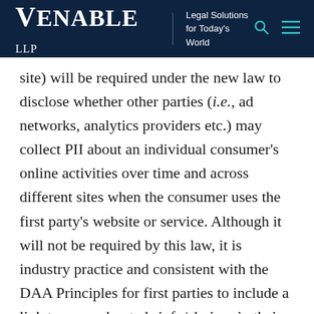Venable LLP | Legal Solutions for Today's World
site) will be required under the new law to disclose whether other parties (i.e., ad networks, analytics providers etc.) may collect PII about an individual consumer's online activities over time and across different sites when the consumer uses the first party's website or service. Although it will not be required by this law, it is industry practice and consistent with the DAA Principles for first parties to include a link to www.aboutads.info/choices in their privacy policy